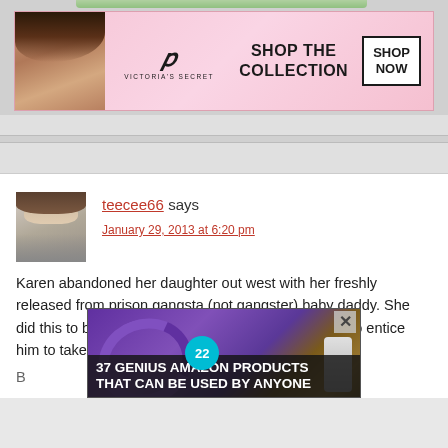[Figure (screenshot): Victoria's Secret advertisement banner showing a model, VS logo, 'SHOP THE COLLECTION' text, and 'SHOP NOW' button]
teecee66 says
January 29, 2013 at 6:20 pm
Karen abandoned her daughter out west with her freshly released from prison gangsta (not gangster) baby daddy. She did this to be on this show. The free house is meant to entice him to take care of
[Figure (screenshot): Overlay advertisement showing headphones image with '37 GENIUS AMAZON PRODUCTS THAT CAN BE USED BY ANYONE' text and a CLOSE button]